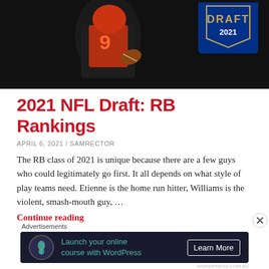[Figure (photo): Football player wearing jersey number 9 holding a ball, with NFL Draft 2021 logo/shield in the top right corner, dark background]
2021 NFL Draft: RB Rankings
APRIL 6, 2021 / SAMRECTOR
The RB class of 2021 is unique because there are a few guys who could legitimately go first. It all depends on what style of play teams need. Etienne is the home run hitter, Williams is the violent, smash-mouth guy, …
Continue reading
Advertisements
[Figure (other): Advertisement banner: dark background with tree/person icon, text 'Launch your online course with WordPress', and 'Learn More' button]